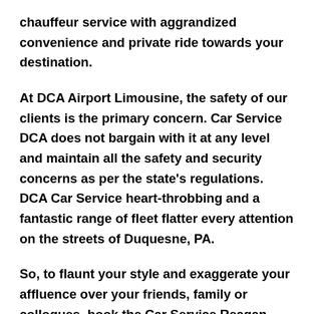chauffeur service with aggrandized convenience and private ride towards your destination.
At DCA Airport Limousine, the safety of our clients is the primary concern. Car Service DCA does not bargain with it at any level and maintain all the safety and security concerns as per the state's regulations. DCA Car Service heart-throbbing and a fantastic range of fleet flatter every attention on the streets of Duquesne, PA.
So, to flaunt your style and exaggerate your affluence over your friends, family or collogues, book the Car Service Reagan Airport from our official website and avail the benefits of discount offers and competitive pricing.